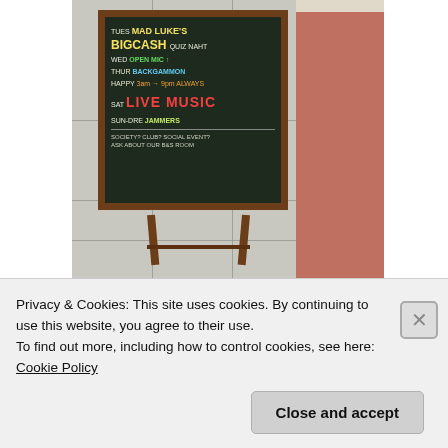[Figure (photo): A chalkboard sandwich sign on a sidewalk outside a pub/bar, listing weekly events: Tues Mad Luke's Big Cash Quiz Night, Wed Open Mic, Thur Backgammon, Happy Hour, Sat Live Music, Sun Dj Jammers. Red brick wall visible in background.]
[Figure (photo): Interior of a pub or shop showing shelves stocked with crisps, snacks and other packaged products above the bar. Pint glasses and bar taps visible. A round clock on the right wall.]
Privacy & Cookies: This site uses cookies. By continuing to use this website, you agree to their use.
To find out more, including how to control cookies, see here: Cookie Policy